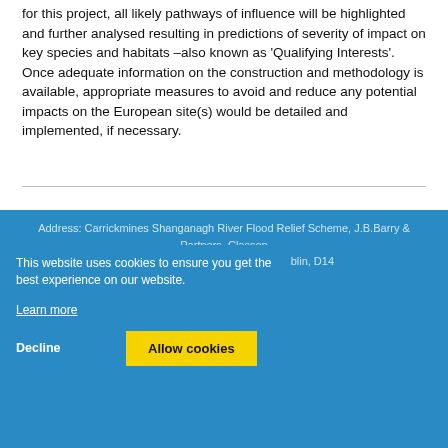for this project, all likely pathways of influence will be highlighted and further analysed resulting in predictions of severity of impact on key species and habitats –also known as 'Qualifying Interests'. Once adequate information on the construction and methodology is available, appropriate measures to avoid and reduce any potential impacts on the European site(s) would be detailed and implemented, if necessary.
Address: Carrickmines Shanganagh River Flood Relief Scheme, J.B.Barry & Partners, Classon House, Dundrum Business Park, Dublin, D14
Email: info@csfrs.ie
Sitemap | Privacy...
This website uses cookies to ensure you get the best experience on our website.
Learn more
Decline   Allow cookies